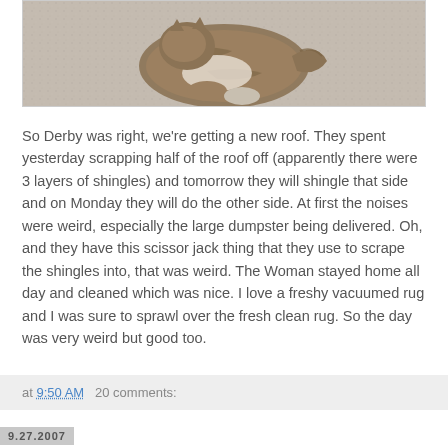[Figure (photo): A cat curled up on a beige/gray carpet, viewed from above. The cat appears to be a tabby with brown/orange and white coloring.]
So Derby was right, we're getting a new roof. They spent yesterday scrapping half of the roof off (apparently there were 3 layers of shingles) and tomorrow they will shingle that side and on Monday they will do the other side. At first the noises were weird, especially the large dumpster being delivered. Oh, and they have this scissor jack thing that they use to scrape the shingles into, that was weird. The Woman stayed home all day and cleaned which was nice. I love a freshy vacuumed rug and I was sure to sprawl over the fresh clean rug. So the day was very weird but good too.
at 9:50 AM   20 comments:
9.27.2007